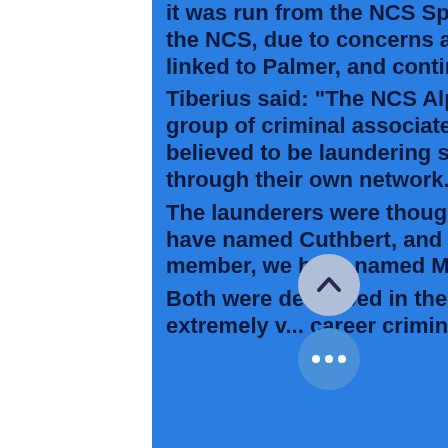it was run from the NCS Specialist base in Cumbria by the NCS, due to concerns about Met Police corruption linked to Palmer, and continued until his death. Tiberius said: "The NCS Alpine team had identified a group of criminal associates from London who were believed to be laundering some of Palmer's money through their own network. The launderers were thought to be one TOWIE dad, we have named Cuthbert, and an uncle of a TOWIE cast member, we have named Malcolm. Both were described in the report as "accomplished and extremely v... career criminals who had well ...